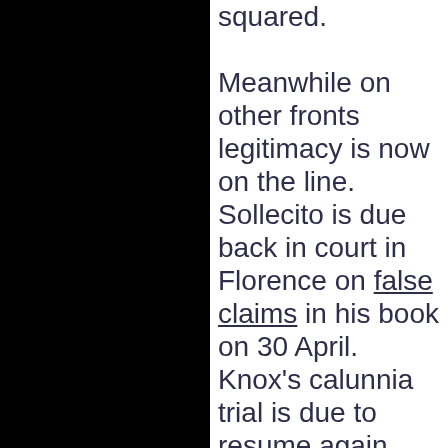squared. Meanwhile on other fronts legitimacy is now on the line. Sollecito is due back in court in Florence on false claims in his book on 30 April. Knox's calunnia trial is due to resume again shortly in Florence with expanded charges targeting false claims